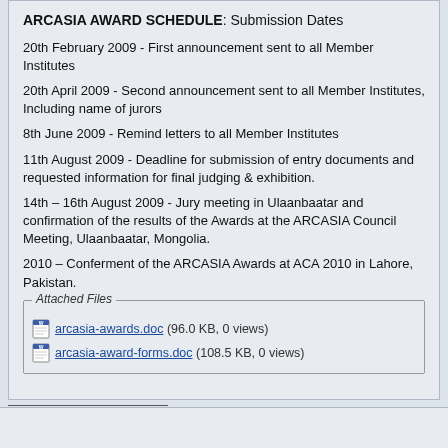ARCASIA AWARD SCHEDULE: Submission Dates
20th February 2009 - First announcement sent to all Member Institutes
20th April 2009 - Second announcement sent to all Member Institutes, Including name of jurors
8th June 2009 - Remind letters to all Member Institutes
11th August 2009 - Deadline for submission of entry documents and requested information for final judging & exhibition.
14th – 16th August 2009 - Jury meeting in Ulaanbaatar and confirmation of the results of the Awards at the ARCASIA Council Meeting, Ulaanbaatar, Mongolia.
2010 – Conferment of the ARCASIA Awards at ACA 2010 in Lahore, Pakistan.
Attached Files: arcasia-awards.doc (96.0 KB, 0 views), arcasia-award-forms.doc (108.5 KB, 0 views)
VUFO